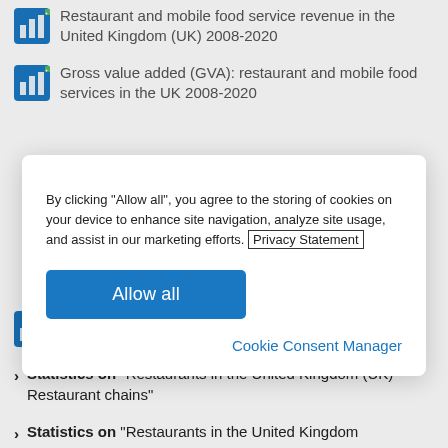Restaurant and mobile food service revenue in the United Kingdom (UK) 2008-2020
Gross value added (GVA): restaurant and mobile food services in the UK 2008-2020
By clicking “Allow all”, you agree to the storing of cookies on your device to enhance site navigation, analyze site usage, and assist in our marketing efforts. Privacy Statement
Allow all
Cookie Consent Manager
Number of licensed food and drink venues in Great Britain 2019-2022
Statistics on “Restaurants in the United Kingdom (UK) - Restaurant chains”
Statistics on “Restaurants in the United Kingdom